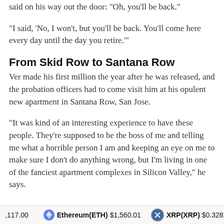said on his way out the door: "Oh, you'll be back."
"I said, 'No, I won't, but you'll be back. You'll come here every day until the day you retire.'"
From Skid Row to Santana Row
Ver made his first million the year after he was released, and the probation officers had to come visit him at his opulent new apartment in Santana Row, San Jose.
"It was kind of an interesting experience to have these people. They're supposed to be the boss of me and telling me what a horrible person I am and keeping an eye on me to make sure I don't do anything wrong, but I'm living in one of the fanciest apartment complexes in Silicon Valley," he says.
,117.00   Ethereum(ETH) $1,560.01   XRP(XRP) $0.328217